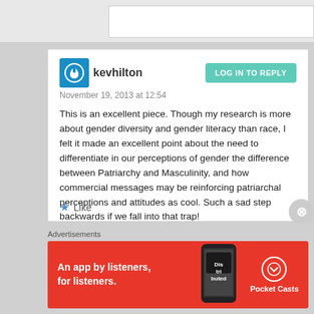kevhilton
November 19, 2013 at 12:54
This is an excellent piece. Though my research is more about gender diversity and gender literacy than race, I felt it made an excellent point about the need to differentiate in our perceptions of gender the difference between Patriarchy and Masculinity, and how commercial messages may be reinforcing patriarchal perceptions and attitudes as cool. Such a sad step backwards if we fall into that trap!
Like
Advertisements
[Figure (infographic): Red advertisement banner for Pocket Casts podcast app reading 'An app by listeners, for listeners.' with a phone image showing a podcast app.]